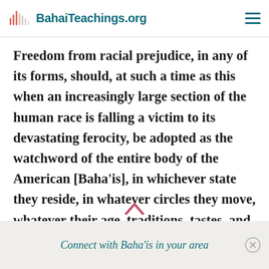BahaiTeachings.org
Freedom from racial prejudice, in any of its forms, should, at such a time as this when an increasingly large section of the human race is falling a victim to its devastating ferocity, be adopted as the watchword of the entire body of the American [Baha'is], in whichever state they reside, in whatever circles they move, whatever their age, traditions, tastes, and habits. – Ibid
Connect with Baha'is in your area